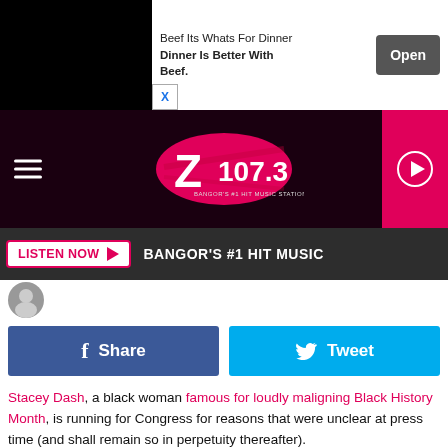[Figure (screenshot): Ad banner: Beef Its Whats For Dinner - Dinner Is Better With Beef. Open button.]
[Figure (logo): Z107.3 radio station logo on dark maroon background with hamburger menu and play button]
[Figure (other): LISTEN NOW button with play icon, tagline BANGOR'S #1 HIT MUSIC on dark bar]
[Figure (other): Facebook Share and Twitter Tweet social sharing buttons]
Stacey Dash, a black woman famous for loudly maligning Black History Month, is running for Congress for reasons that were unclear at press time (and shall remain so in perpetuity thereafter).
Dash, a frequently confused Fox News pundit who's adopted cool and cutting-edge views like transgender people should pee in bushes, formally set into motion a "Dash to D.C." campaign Monday (February 26), according to Entertainment